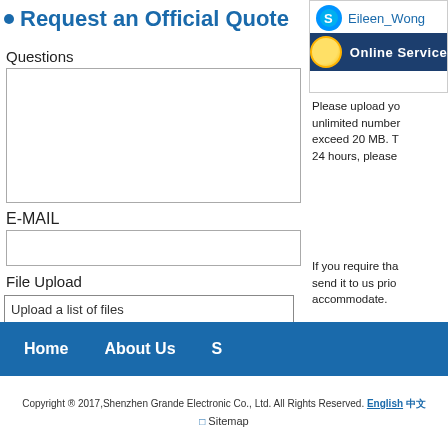Request an Official Quote
Questions
E-MAIL
File Upload
Upload a list of files
Choose Files   No file chosen
[Figure (screenshot): Skype contact widget showing Eileen_Wong with Online Service chat button]
Please upload yo... unlimited number... exceed 20 MB. T... 24 hours, please
If you require tha... send it to us prio... accommodate.
submit
Home   About Us   S
Copyright ® 2017,Shenzhen Grande Electronic Co., Ltd. All Rights Reserved. English 中文   Sitemap